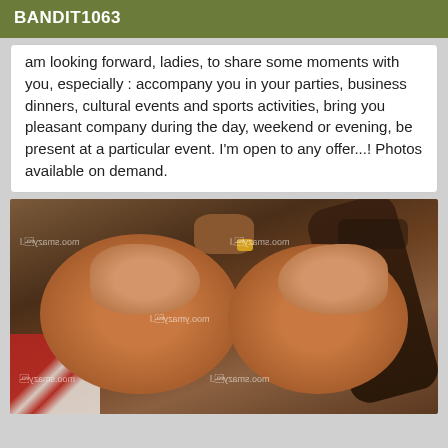BANDIT1063
am looking forward, ladies, to share some moments with you, especially : accompany you in your parties, business dinners, cultural events and sports activities, bring you pleasant company during the day, weekend or evening, be present at a particular event. I'm open to any offer...! Photos available on demand.
[Figure (photo): A close-up photo of a person, partially obscured, with watermark text overlay.]